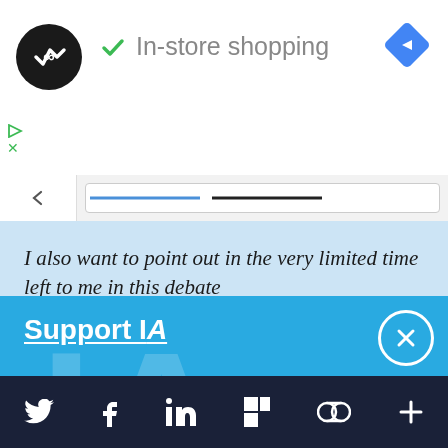[Figure (screenshot): Mobile app UI screenshot showing an advertisement bar with a circular logo, a green checkmark and 'In-store shopping' text, a blue diamond navigation icon, and small play/close icons on the left.]
In-store shopping
I also want to point out in the very limited time left to me in this debate
Support IA
Subscribe to IA and investigate Australia today.
Close
Subscribe
Donate